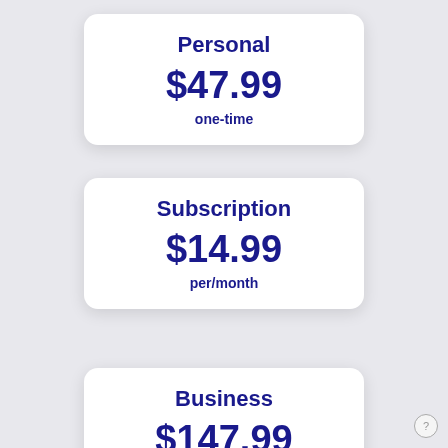Personal
$47.99
one-time
Subscription
$14.99
per/month
Business
$147.99